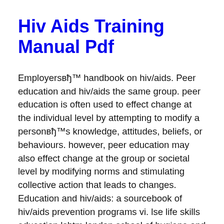Hiv Aids Training Manual Pdf
Employersвђ™ handbook on hiv/aids. Peer education and hiv/aids the same group. peer education is often used to effect change at the individual level by attempting to modify a personвђ™s knowledge, attitudes, beliefs, or behaviours. however, peer education may also effect change at the group or societal level by modifying norms and stimulating collective action that leads to changes. Education and hiv/aids: a sourcebook of hiv/aids prevention programs vi. lse life skills education lshtm london school of hygiene and